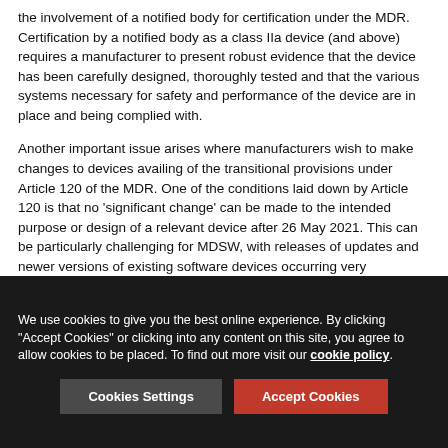the involvement of a notified body for certification under the MDR. Certification by a notified body as a class IIa device (and above) requires a manufacturer to present robust evidence that the device has been carefully designed, thoroughly tested and that the various systems necessary for safety and performance of the device are in place and being complied with.
Another important issue arises where manufacturers wish to make changes to devices availing of the transitional provisions under Article 120 of the MDR. One of the conditions laid down by Article 120 is that no 'significant change' can be made to the intended purpose or design of a relevant device after 26 May 2021. This can be particularly challenging for MDSW, with releases of updates and newer versions of existing software devices occurring very frequently. Manufacturers who avail of the transitional provisions under
We use cookies to give you the best online experience. By clicking "Accept Cookies" or clicking into any content on this site, you agree to allow cookies to be placed. To find out more visit our cookie policy.